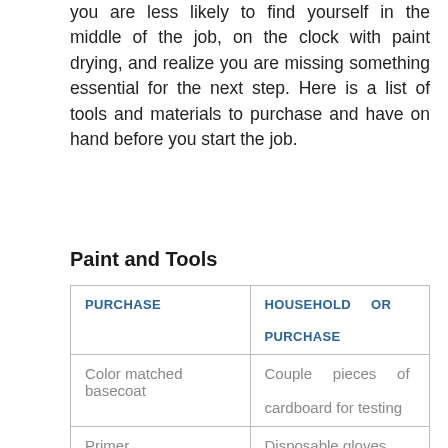you are less likely to find yourself in the middle of the job, on the clock with paint drying, and realize you are missing something essential for the next step. Here is a list of tools and materials to purchase and have on hand before you start the job.
Paint and Tools
| PURCHASE | HOUSEHOLD OR PURCHASE |
| --- | --- |
| Color matched basecoat | Couple pieces of cardboard for testing |
| Primer | Disposable gloves |